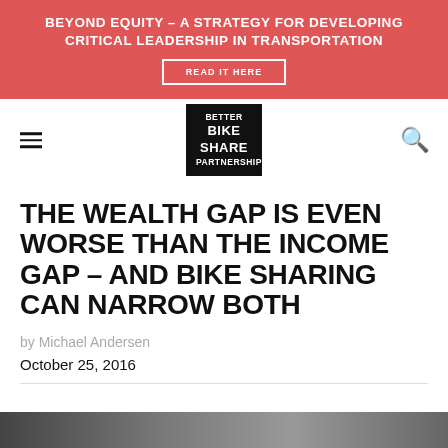BEYOND EQUITY – A STRATEGY FOR DEVELOPING CRITICAL LEADERSHIP IN TRANSPORTATION
[Figure (other): READ IT HERE button link]
[Figure (logo): Better Bike Share Partnership logo — black box with white text]
THE WEALTH GAP IS EVEN WORSE THAN THE INCOME GAP – AND BIKE SHARING CAN NARROW BOTH
by Michael Andersen
October 25, 2016
[Figure (photo): Partial photo at bottom of page, cropped]